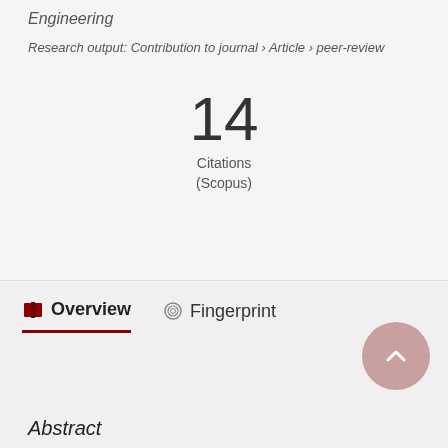Engineering
Research output: Contribution to journal › Article › peer-review
14
Citations
(Scopus)
Overview
Fingerprint
Abstract